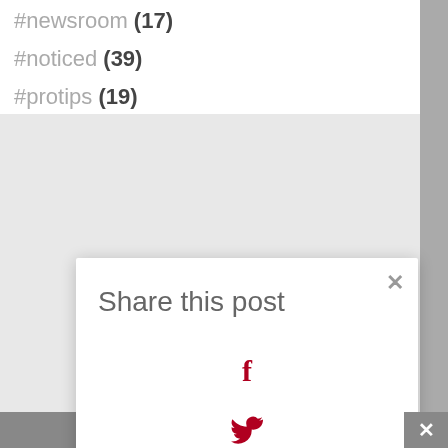#newsroom (17)
#noticed (39)
#protips (19)
Share this post
[Figure (infographic): Share this post modal dialog with social media icons: Facebook (f), Twitter (bird), Pinterest (p), Buffer (layers), and more options (three dots), along with a close (x) button in top right corner.]